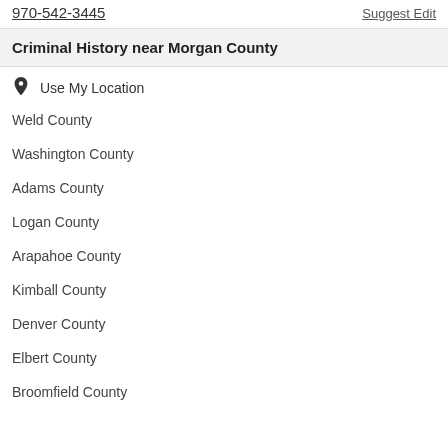970-542-3445
Suggest Edit
Criminal History near Morgan County
Use My Location
Weld County
Washington County
Adams County
Logan County
Arapahoe County
Kimball County
Denver County
Elbert County
Broomfield County